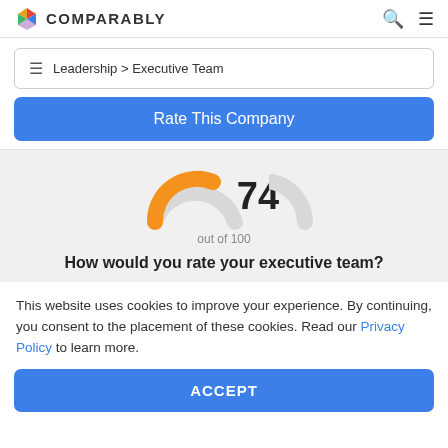COMPARABLY
Leadership > Executive Team
Rate This Company
[Figure (other): Gauge/donut arc showing score of 74 out of 100, with orange left arc and light gray right arc]
How would you rate your executive team?
This website uses cookies to improve your experience. By continuing, you consent to the placement of these cookies. Read our Privacy Policy to learn more.
ACCEPT